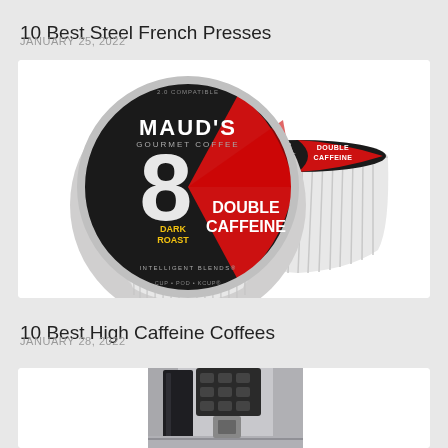10 Best Steel French Presses
JANUARY 25, 2022
[Figure (photo): Two Maud's Gourmet Coffee K-cups with 'DOUBLE CAFFEINE DARK ROAST' labeling, one showing the front label and one showing the top/side]
10 Best High Caffeine Coffees
JANUARY 28, 2022
[Figure (photo): Partial image of a silver/black coffee machine, showing the top portion with control buttons]